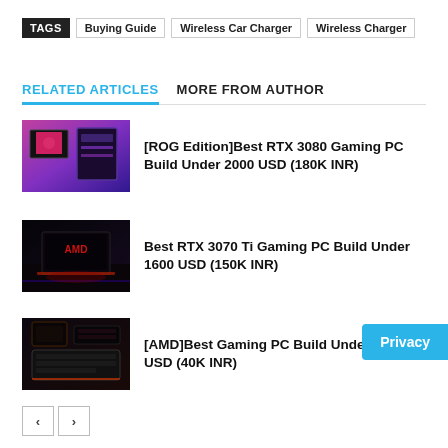TAGS  Buying Guide  Wireless Car Charger  Wireless Charger
RELATED ARTICLES   MORE FROM AUTHOR
[Figure (photo): Gaming PC setup with ROG monitor and tower with purple/pink lighting]
[ROG Edition]Best RTX 3080 Gaming PC Build Under 2000 USD (180K INR)
[Figure (photo): Dark gaming PC setup with RGB lighting desk scene]
Best RTX 3070 Ti Gaming PC Build Under 1600 USD (150K INR)
[Figure (photo): AMD gaming PC build photo with keyboard and components]
[AMD]Best Gaming PC Build Under 500 USD (40K INR)
Privacy